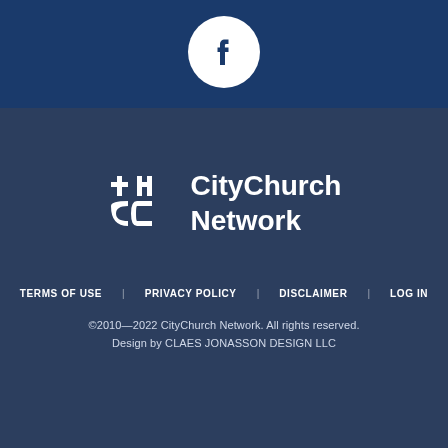[Figure (logo): Facebook logo: white circle with dark blue Facebook 'f' icon]
[Figure (logo): CityChurch Network logo: white cross/C symbol with text 'CityChurch Network']
TERMS OF USE   PRIVACY POLICY   DISCLAIMER   LOG IN
©2010—2022 CityChurch Network. All rights reserved.
Design by CLAES JONASSON DESIGN LLC